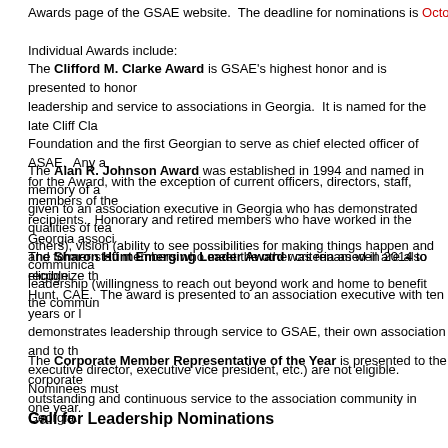Awards page of the GSAE website.  The deadline for nominations is October 1, 20...
Individual Awards include:
The Clifford M. Clarke Award is GSAE's highest honor and is presented to honor leadership and service to associations in Georgia.  It is named for the late Cliff Cla... Foundation and the first Georgian to serve as chief elected officer of ASAE.  Any a... for the Award, with the exception of current officers, directors, staff, members of the... recipients.  Honorary and retired members who have worked in the Georgia associ... and former staff members who meet the other criteria as well are also eligible.
The Alan R. Johnson Award was established in 1994 and named in memory of a... given to an association executive in Georgia who has demonstrated qualities of tea... others), vision (ability to see possibilities for making things happen and communica... leadership (willingness to reach out beyond work and home to benefit the commun...
The Sharon Hunt Emerging Leader Award was renamed in 2014 to recognize th... Hunt, CAE.  The award is presented to an association executive with ten years or l... demonstrates leadership through service to GSAE, their own association and to th... executive director, executive vice president, etc.) are not eligible.  Nominees must... one year.
The Corporate Member Representative of the Year is presented to the corporate... outstanding and continuous service to the association community in Georgia.
Call for Leadership Nominations